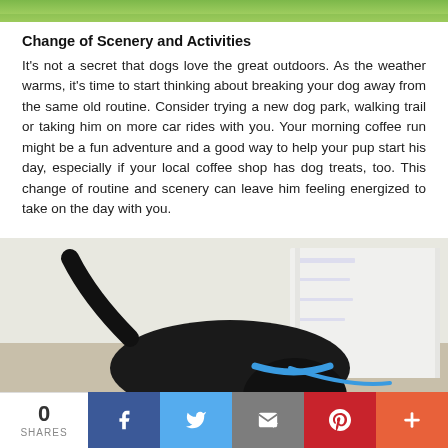[Figure (photo): Green grass / outdoor background image strip at top]
Change of Scenery and Activities
It's not a secret that dogs love the great outdoors. As the weather warms, it's time to start thinking about breaking your dog away from the same old routine. Consider trying a new dog park, walking trail or taking him on more car rides with you. Your morning coffee run might be a fun adventure and a good way to help your pup start his day, especially if your local coffee shop has dog treats, too. This change of routine and scenery can leave him feeling energized to take on the day with you.
[Figure (photo): Black dog with blue collar sniffing the floor indoors, white shelving unit in background]
0 SHARES | Facebook | Twitter | Email | Pinterest | More